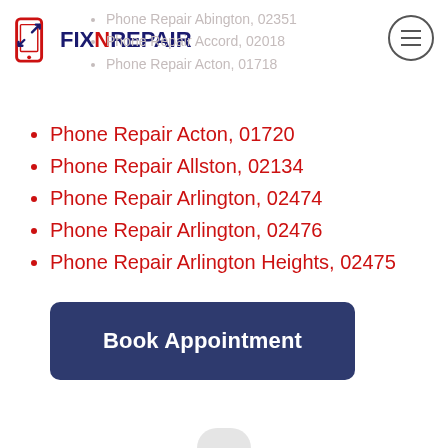FIXNREPAIR
Phone Repair Abington, 02351
Phone Repair Accord, 02018
Phone Repair Acton, 01718
Phone Repair Acton, 01720
Phone Repair Allston, 02134
Phone Repair Arlington, 02474
Phone Repair Arlington, 02476
Phone Repair Arlington Heights, 02475
Book Appointment